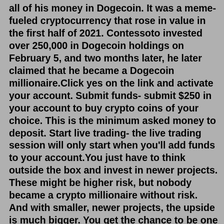all of his money in Dogecoin. It was a meme-fueled cryptocurrency that rose in value in the first half of 2021. Contessoto invested over 250,000 in Dogecoin holdings on February 5, and two months later, he later claimed that he became a Dogecoin millionaire.Click yes on the link and activate your account. Submit funds- submit $250 in your account to buy crypto coins of your choice. This is the minimum asked money to deposit. Start live trading- the live trading session will only start when you'll add funds to your account.You just have to think outside the box and invest in newer projects. These might be higher risk, but nobody became a crypto millionaire without risk. And with smaller, newer projects, the upside is much bigger. You get the chance to be one of the next generation of crypto millionaires, so you can start picking out your Lambo.Aug 08, 2022 · Instead of browsing through thousands of discussions to find valuable information, we gathered the most important predictions for 2022. Overall, we found